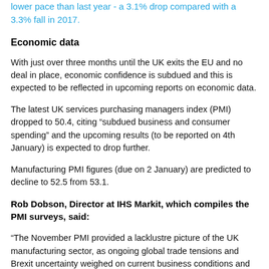Springboard revealed that Boxing Day footfall has declined at a lower pace than last year - a 3.1% drop compared with a 3.3% fall in 2017.
Economic data
With just over three months until the UK exits the EU and no deal in place, economic confidence is subdued and this is expected to be reflected in upcoming reports on economic data.
The latest UK services purchasing managers index (PMI) dropped to 50.4, citing “subdued business and consumer spending” and the upcoming results (to be reported on 4th January) is expected to drop further.
Manufacturing PMI figures (due on 2 January) are predicted to decline to 52.5 from 53.1.
Rob Dobson, Director at IHS Markit, which compiles the PMI surveys, said:
“The November PMI provided a lacklustre picture of the UK manufacturing sector, as ongoing global trade tensions and Brexit uncertainty weighed on current business conditions and dampened